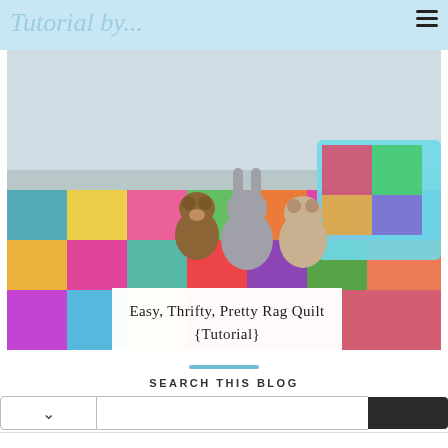Tutorial by...
[Figure (photo): A child's bed with a colorful rag quilt and stuffed animal toys including bears and a rabbit. A patchwork pillow is visible. The quilt features bright pink, green, teal, and yellow fabric squares.]
Easy, Thrifty, Pretty Rag Quilt {Tutorial}
SEARCH THIS BLOG
[Figure (screenshot): Advertisement banner for Kynix Integrated Circuits Supplier. Logo shows 'Kynix' in orange/red italic font. Headline: 'Integrated Circuits Supplier'. Subtext: 'Check Part Availability & Inventory from Kynix Kynix'. Button: 'Get Quote'.]